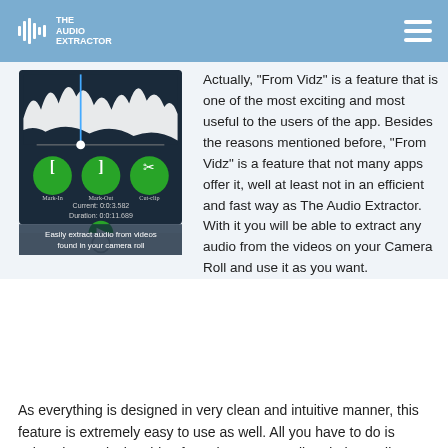The Audio Extractor
[Figure (screenshot): Screenshot of The Audio Extractor mobile app showing audio waveform, mark-in/mark-out/cut-clip controls, current time 0:0:3.582, duration 0:0:11.689, play button, and Save button, displayed on a white smartphone frame]
Easily extract audio from videos found in your camera roll
Actually, “From Vidz” is a feature that is one of the most exciting and most useful to the users of the app. Besides the reasons mentioned before, “From Vidz” is a feature that not many apps offer it, well at least not in an efficient and fast way as The Audio Extractor. With it you will be able to extract any audio from the videos on your Camera Roll and use it as you want.
As everything is designed in very clean and intuitive manner, this feature is extremely easy to use as well. All you have to do is select the particular video from the camera roll and The Audio Extractor will do its job smoothly and efficiently